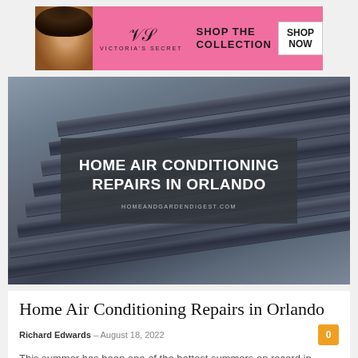[Figure (photo): Victoria's Secret advertisement banner with model, logo, 'SHOP THE COLLECTION' text and 'SHOP NOW' button on pink background]
[Figure (photo): Hero image of home air conditioning unit (AC slats/fins, close-up) with dark semi-transparent overlay showing title 'HOME AIR CONDITIONING REPAIRS IN ORLANDO' and URL 'HOMEANDGARDENDIGEST.COM']
Home Air Conditioning Repairs in Orlando
Richard Edwards – August 18, 2022
This summer has been one of the hottest summers on record in